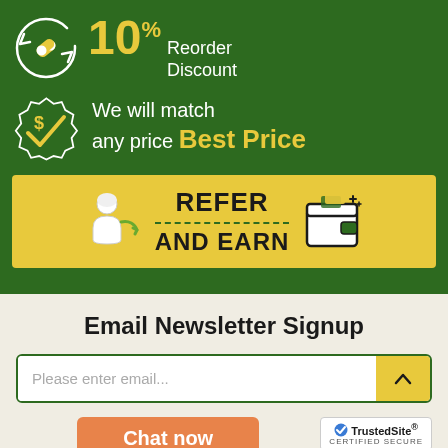[Figure (infographic): 10% Reorder Discount with pill icon in circular arrows]
[Figure (infographic): Best Price match guarantee with dollar sign badge and checkmark icon]
[Figure (infographic): Refer and Earn banner with person referring icon and wallet icon]
Email Newsletter Signup
Please enter email...
Chat now
[Figure (logo): TrustedSite Certified Secure badge]